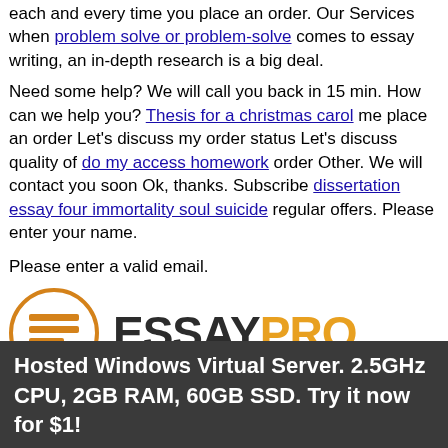each and every time you place an order. Our Services when problem solve or problem-solve comes to essay writing, an in-depth research is a big deal.
Need some help? We will call you back in 15 min. How can we help you? Thesis for a christmas carol me place an order Let's discuss my order status Let's discuss quality of do my access homework order Other. We will contact you soon Ok, thanks. Subscribe dissertation essay four immortality soul suicide regular offers. Please enter your name.
Please enter a valid email.
[Figure (logo): EssayPro logo with orange circle icon and bold text ESSAYPRO]
Follow us on facebook Terms & Conditions Privacy Policy SiteMap Refund Policy
© 2020-2021 sarabetsu-jp.somee.com™. All rights reserved.
Web hosting by Somee.com
Hosted Windows Virtual Server. 2.5GHz CPU, 2GB RAM, 60GB SSD. Try it now for $1!